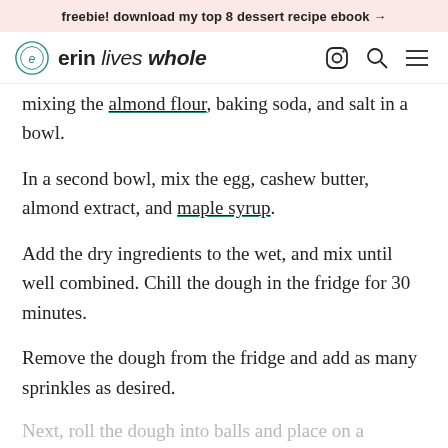freebie! download my top 8 dessert recipe ebook →
erin lives whole
mixing the almond flour, baking soda, and salt in a bowl.
In a second bowl, mix the egg, cashew butter, almond extract, and maple syrup.
Add the dry ingredients to the wet, and mix until well combined. Chill the dough in the fridge for 30 minutes.
Remove the dough from the fridge and add as many sprinkles as desired.
Next, roll the dough into balls and place on a